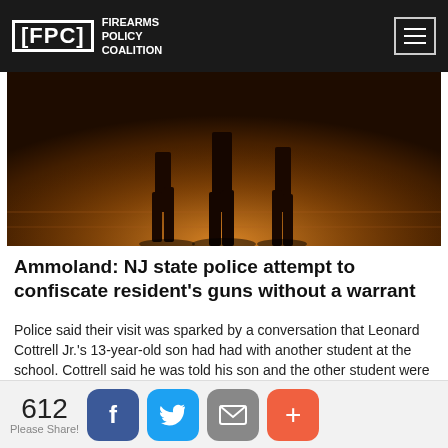FPC Firearms Policy Coalition
[Figure (photo): Dark silhouette photo showing legs/figures walking on a surface with warm orange-brown lighting from below, nighttime scene]
Ammoland: NJ state police attempt to confiscate resident's guns without a warrant
Police said their visit was sparked by a conversation that Leonard Cottrell Jr.'s 13-year-old son had had with another student at the school. Cottrell said he was told his son and the other student were discussing security being lax and what they would have to do to escape a school shooting at Millstone Middle School.
Read More>>
612 Please Share!